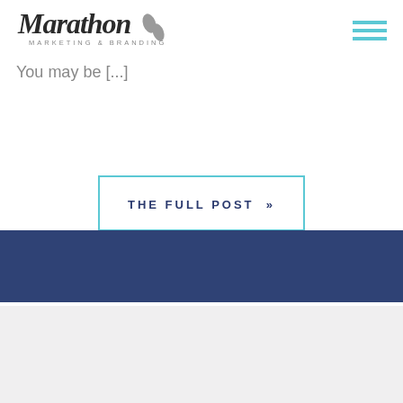[Figure (logo): Marathon Marketing & Branding logo with stylized script text and shoe print icon]
You may be [...]
THE FULL POST »